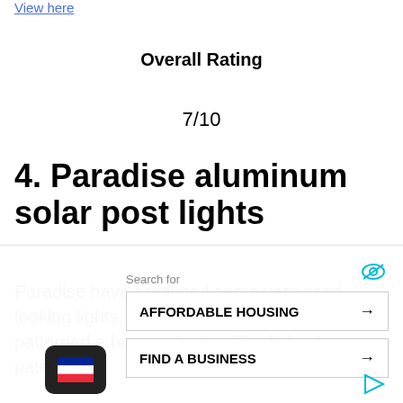View here
Overall Rating
7/10
4. Paradise aluminum solar post lights
Paradise have produced some very good looking lights, made from aluminum and patterned a bronze design. The lights have a patented...
Search for
AFFORDABLE HOUSING
FIND A BUSINESS